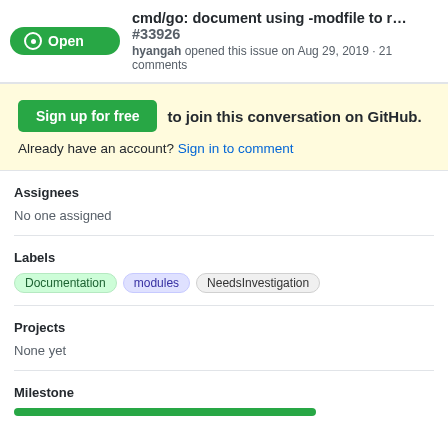cmd/go: document using -modfile to r... #33926
hyangah opened this issue on Aug 29, 2019 · 21 comments
Sign up for free  to join this conversation on GitHub.
Already have an account? Sign in to comment
Assignees
No one assigned
Labels
Documentation  modules  NeedsInvestigation
Projects
None yet
Milestone
[Figure (infographic): Green progress bar for milestone]